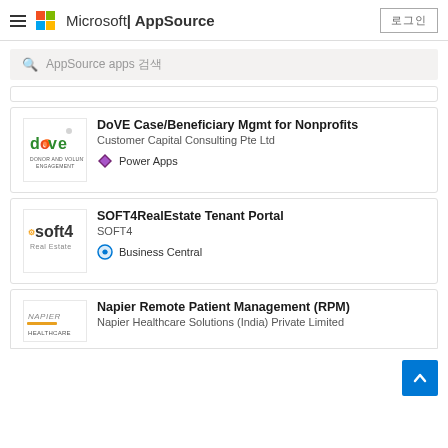Microsoft | AppSource
AppSource apps 검색
[Figure (logo): DoVE Donor and Volunteer Engagement logo - green text 'dove' with colorful bird icon]
DoVE Case/Beneficiary Mgmt for Nonprofits
Customer Capital Consulting Pte Ltd
Power Apps
[Figure (logo): Soft4 Real Estate logo - dark text 'soft4' with gear icon]
SOFT4RealEstate Tenant Portal
SOFT4
Business Central
[Figure (logo): Napier Healthcare logo]
Napier Remote Patient Management (RPM)
Napier Healthcare Solutions (India) Private Limited